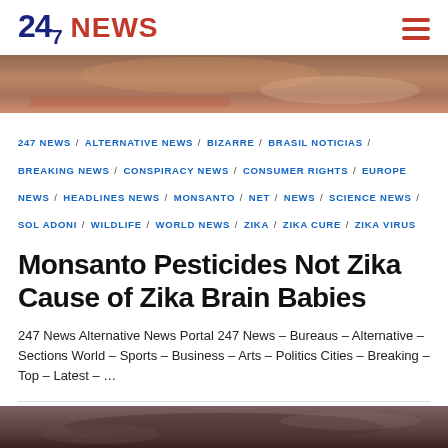247 NEWS
[Figure (photo): Top portion of a news article hero image showing a close-up food or skin texture in brown and red tones]
247 NEWS / ALTERNATIVE NEWS / BIZARRE / BRASIL NOTICIAS / BREAKING NEWS / CONSPIRACY NEWS / CONSUMER RIGHTS / EUROPE NEWS / HEADLINES NEWS / MONSANTO / NET / NEWS / SCIENCE NEWS / SOL ADONI / WILDLIFE / WORLD NEWS / ZIKA / ZIKA CURE / ZIKA VIRUS
Monsanto Pesticides Not Zika Cause of Zika Brain Babies
247 News Alternative News Portal 247 News – Bureaus – Alternative – Sections World – Sports – Business – Arts – Politics Cities – Breaking – Top – Latest – ...
[Figure (photo): Bottom portion of a news article hero image showing a dark close-up, appears to be a human face or head]